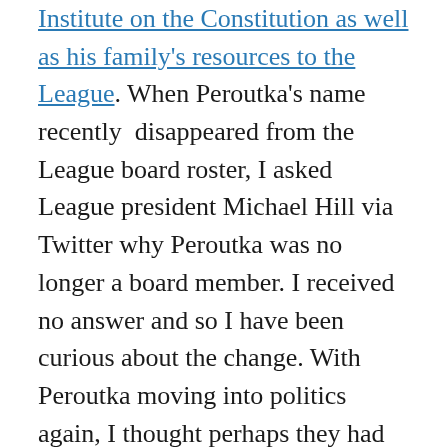Institute on the Constitution as well as his family's resources to the League. When Peroutka's name recently disappeared from the League board roster, I asked League president Michael Hill via Twitter why Peroutka was no longer a board member. I received no answer and so I have been curious about the change. With Peroutka moving into politics again, I thought perhaps they had decided to go separate ways toward their mutual goals. Now we read in the Baltimore Sun article that League president Michael Hill is pleased that Peroutka and Whitney are running for office. Although Hill's group has endorsed Peroutka before for elective office (when Peroutka ran for president as the representative of the